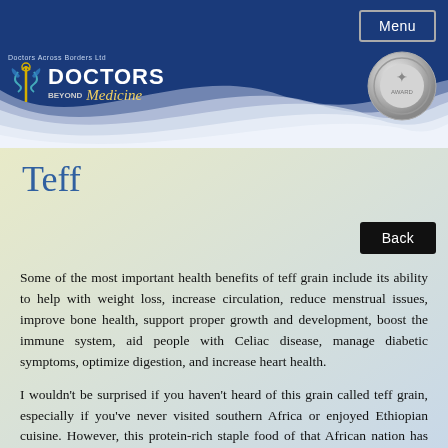Menu
[Figure (logo): Doctors Beyond Medicine logo with caduceus icon and tagline 'Doctors Across Borders Ltd']
[Figure (illustration): Silver medal/seal badge in upper right corner of header]
Teff
Back
Some of the most important health benefits of teff grain include its ability to help with weight loss, increase circulation, reduce menstrual issues, improve bone health, support proper growth and development, boost the immune system, aid people with Celiac disease, manage diabetic symptoms, optimize digestion, and increase heart health.
I wouldn't be surprised if you haven't heard of this grain called teff grain, especially if you've never visited southern Africa or enjoyed Ethiopian cuisine. However, this protein-rich staple food of that African nation has received a great deal of attention lately, as its high nutrient